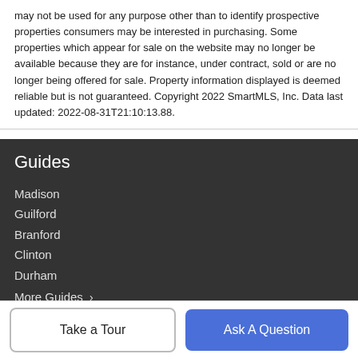may not be used for any purpose other than to identify prospective properties consumers may be interested in purchasing. Some properties which appear for sale on the website may no longer be available because they are for instance, under contract, sold or are no longer being offered for sale. Property information displayed is deemed reliable but is not guaranteed. Copyright 2022 SmartMLS, Inc. Data last updated: 2022-08-31T21:10:13.88.
Guides
Madison
Guilford
Branford
Clinton
Durham
More Guides >
Take a Tour
Ask A Question